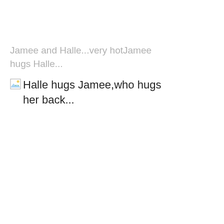Jamee and Halle...very hotJamee hugs Halle...
[Figure (illustration): Broken image placeholder icon followed by alt text: Halle hugs Jamee,who hugs her back...]